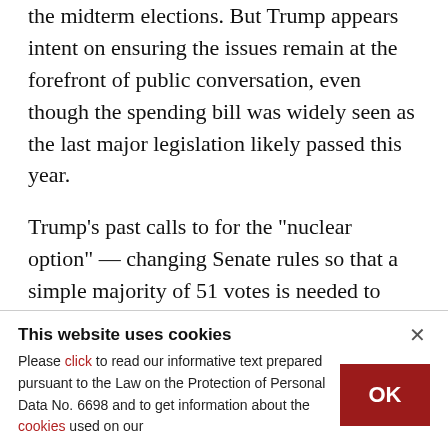the midterm elections. But Trump appears intent on ensuring the issues remain at the forefront of public conversation, even though the spending bill was widely seen as the last major legislation likely passed this year.
Trump's past calls to for the "nuclear option" — changing Senate rules so that a simple majority of 51 votes is needed to advance legislation, instead of the current 60 votes — have been dismissed by Senate Majority Leader Mitch McConnell.
This website uses cookies
Please click to read our informative text prepared pursuant to the Law on the Protection of Personal Data No. 6698 and to get information about the cookies used on our